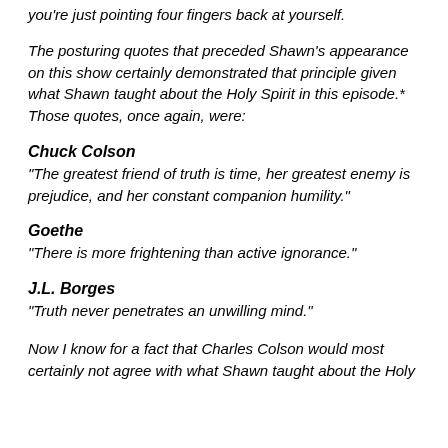you're just pointing four fingers back at yourself.
The posturing quotes that preceded Shawn's appearance on this show certainly demonstrated that principle given what Shawn taught about the Holy Spirit in this episode.* Those quotes, once again, were:
Chuck Colson
“The greatest friend of truth is time, her greatest enemy is prejudice, and her constant companion humility.”
Goethe
“There is more frightening than active ignorance.”
J.L. Borges
“Truth never penetrates an unwilling mind.”
Now I know for a fact that Charles Colson would most certainly not agree with what Shawn taught about the Holy